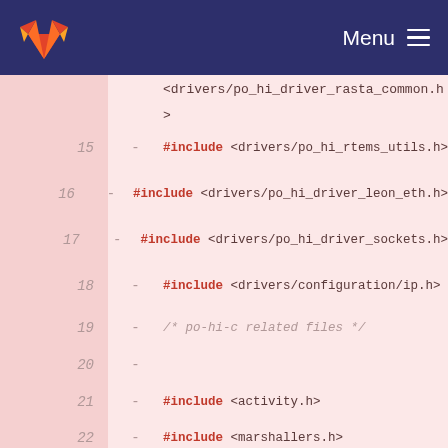GitLab — Menu
<drivers/po_hi_driver_rasta_common.h>
    >
15  - #include <drivers/po_hi_rtems_utils.h>
16  - #include <drivers/po_hi_driver_leon_eth.h>
17  - #include <drivers/po_hi_driver_sockets.h>
18  - #include <drivers/configuration/ip.h>
19  - /* po-hi-c related files */
20  -
21  - #include <activity.h>
22  - #include <marshallers.h>
23  - #include <deployment.h>
24  - /* generated files */
25  -
26  - #include <termios.h>
27  - #include <fcntl.h>
28  - #include <unistd.h>